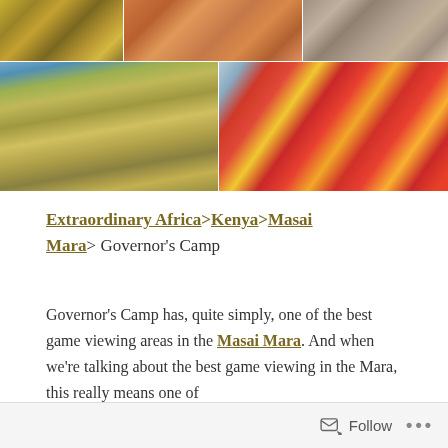[Figure (photo): Grid of safari photographs: top row shows a cheetah in savanna grass, an orange-furnished lodge room interior, and two people dining outdoors; bottom row shows a group of lions in grassland and a group of Maasai people in colorful traditional dress performing a ceremony]
Extraordinary Africa>Kenya>Masai Mara>Governor's Camp
Governor's Camp has, quite simply, one of the best game viewing areas in the Masai Mara. And when we're talking about the best game viewing in the Mara, this really means one of
Follow ...